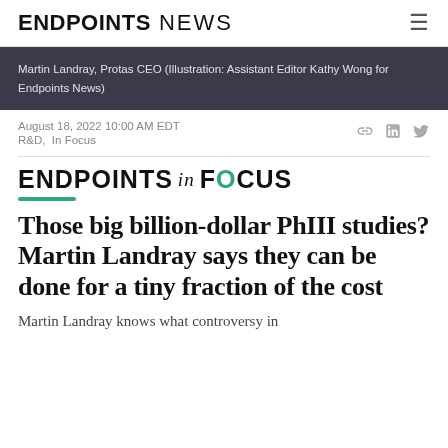ENDPOINTS NEWS
Martin Landray, Protas CEO (Illustration: Assistant Editor Kathy Wong for Endpoints News)
August 18, 2022 10:00 AM EDT
R&D,  In Focus
[Figure (logo): ENDPOINTS in FOCUS logo with green underline bar]
Those big billion-dollar PhIII studies? Martin Landray says they can be done for a tiny fraction of the cost
Martin Landray knows what controversy in